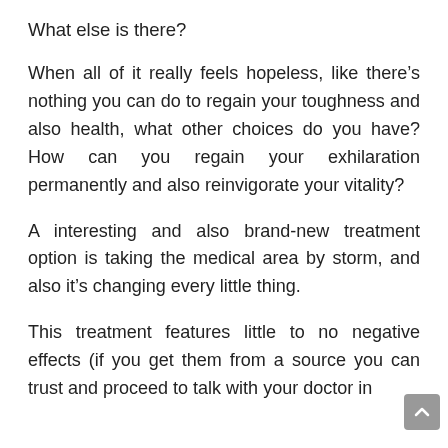What else is there?
When all of it really feels hopeless, like there’s nothing you can do to regain your toughness and also health, what other choices do you have? How can you regain your exhilaration permanently and also reinvigorate your vitality?
A interesting and also brand-new treatment option is taking the medical area by storm, and also it’s changing every little thing.
This treatment features little to no negative effects (if you get them from a source you can trust and proceed to talk with your doctor in